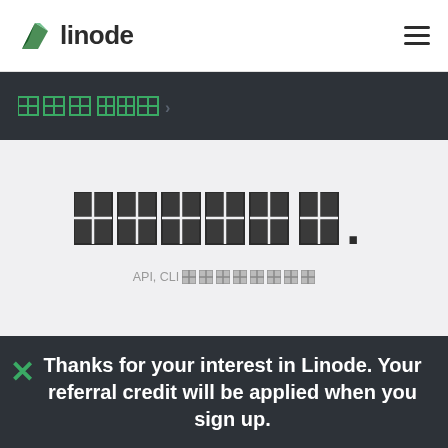linode
[breadcrumb navigation]
[Section Title].
API, CLI [and other tools/services description text]
Thanks for your interest in Linode. Your referral credit will be applied when you sign up.